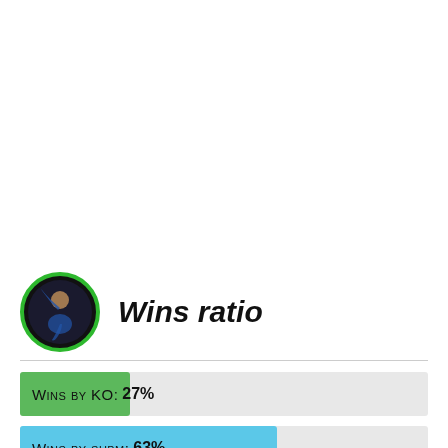Wins ratio
[Figure (bar-chart): Wins ratio]